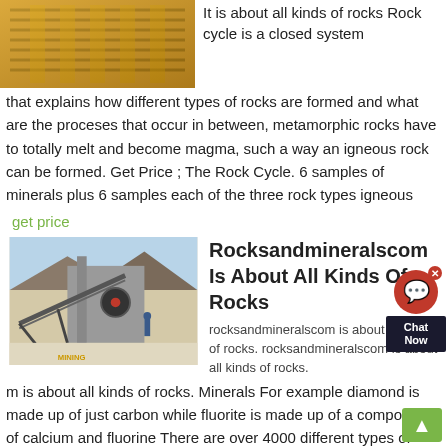[Figure (photo): Close-up photo of industrial machinery with yellow/orange mechanical parts]
It is about all kinds of rocks Rock cycle is a closed system that explains how different types of rocks are formed and what are the proceses that occur in between, metamorphic rocks have to totally melt and become magma, such a way an igneous rock can be formed. Get Price ; The Rock Cycle. 6 samples of minerals plus 6 samples each of the three rock types igneous
get price
[Figure (photo): Outdoor photo of a large industrial rock crushing/mining plant with conveyor belts and machinery in a desert setting]
Rocksandmineralscom Is About All Kinds Of Rocks
rocksandmineralscom is about all kinds of rocks. rocksandmineralscom is about all kinds of rocks. Minerals For example diamond is made up of just carbon while fluorite is made up of a compound of calcium and fluorine There are over 4000 different types of